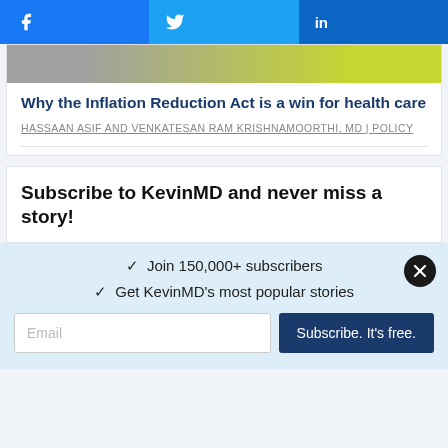Facebook | Twitter | LinkedIn social share buttons
[Figure (photo): Cropped article image with gray and lime green colors]
Why the Inflation Reduction Act is a win for health care
HASSAAN ASIF AND VENKATESAN RAM KRISHNAMOORTHI, MD | POLICY
Subscribe to KevinMD and never miss a story!
✓  Join 150,000+ subscribers
✓  Get KevinMD's most popular stories
Email
Subscribe. It's free.